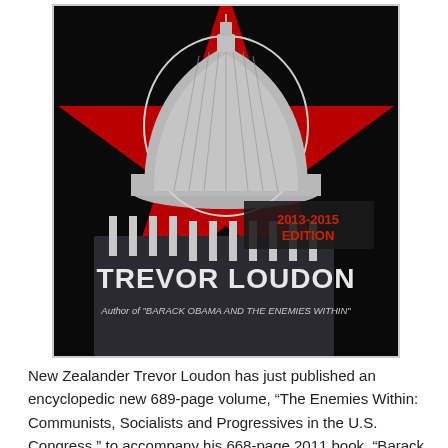[Figure (illustration): Book cover showing the U.S. Capitol building dome against a red star background. Text reads '2013-2015 EDITION', 'TREVOR LOUDON', and 'Author of BARACK OBAMA AND THE ENEMIES WITHIN'.]
New Zealander Trevor Loudon has just published an encyclopedic new 689-page volume, “The Enemies Within: Communists, Socialists and Progressives in the U.S. Congress,” to accompany his 668-page 2011 book, “Barack Obama and the Enemies Within.”